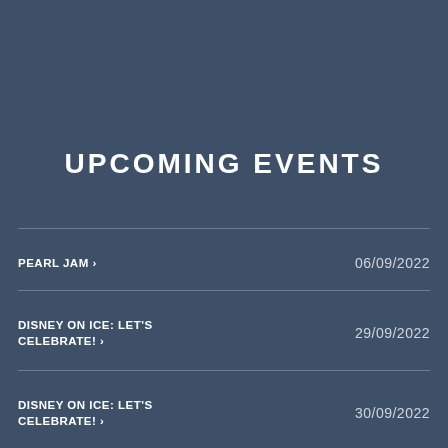UPCOMING EVENTS
PEARL JAM › 06/09/2022
DISNEY ON ICE: LET'S CELEBRATE! › 29/09/2022
DISNEY ON ICE: LET'S CELEBRATE! › 30/09/2022